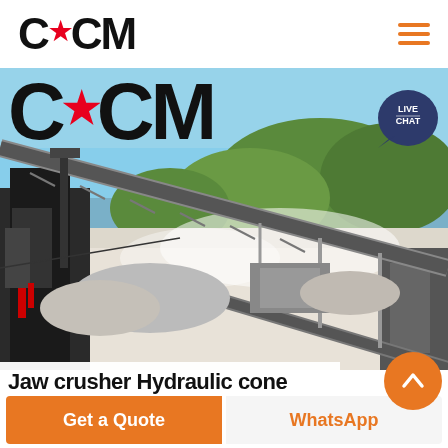CCM (logo with star)
[Figure (photo): Aerial/ground-level view of a large mining/quarrying plant with conveyor belts, crushers, machinery, dust, and green hills in the background. CCM logo overlaid on the left side of the image. Live Chat bubble in upper right corner.]
Jaw crusher Hydraulic cone
Get a Quote
WhatsApp